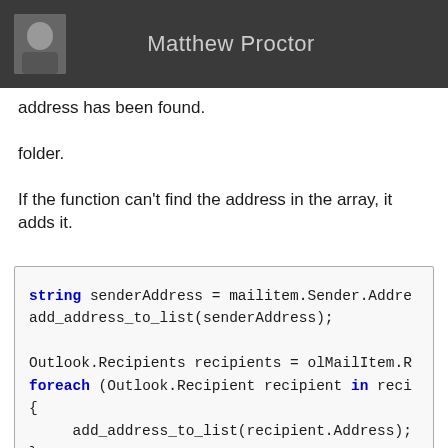Matthew Proctor
address has been found.
folder.
If the function can't find the address in the array, it adds it.
[Figure (screenshot): Code block showing C# code: string senderAddress = mailitem.Sender.Address; add_address_to_list(senderAddress); Outlook.Recipients recipients = olMailItem.R; foreach (Outlook.Recipient recipient in reci) { add_address_to_list(recipient.Address); } static void add_address_to_list(string email]